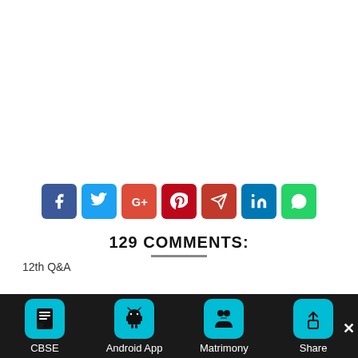[Figure (infographic): Row of 7 social sharing buttons: Facebook (blue), Twitter (light blue), Google+ (red-orange), Pinterest (dark red), Telegram (red), LinkedIn (blue), WhatsApp (green)]
12th Q&A
129 COMMENTS:
[Figure (infographic): Bottom navigation bar with four items: CBSE (book icon, cyan), Android App (android icon, cyan), Matrimony (couple icon, cyan), Share (share icon, cyan). Dark background bar.]